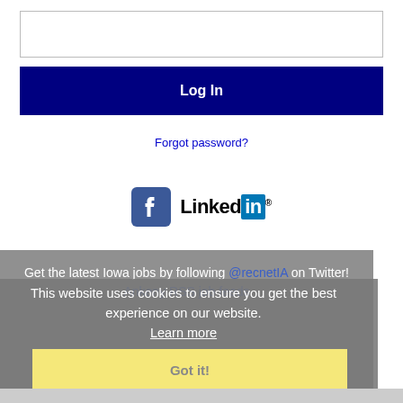[Figure (screenshot): Empty text input box for login form]
Log In
Forgot password?
[Figure (logo): Facebook and LinkedIn social login icons]
Get the latest Iowa jobs by following @recnetIA on Twitter!
Ankeny RSS job feeds
This website uses cookies to ensure you get the best experience on our website.
Learn more
Got it!